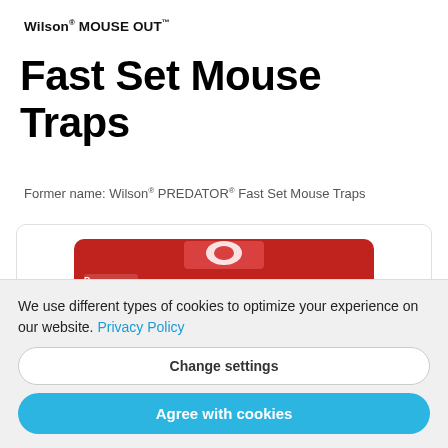Wilson® MOUSE OUT™
Fast Set Mouse Traps
Former name: Wilson® PREDATOR® Fast Set Mouse Traps
[Figure (photo): Wilson MOUSE OUT Fast-Set Mouse Traps product packaging card with red background, Premier Tech logo, wilson brand name, crosshair targeting a mouse image, text MOUSE FAST-SET MOUSE TRAPS]
We use different types of cookies to optimize your experience on our website. Privacy Policy
Change settings
Agree with cookies